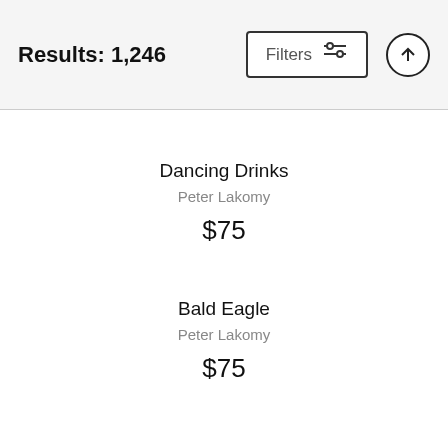Results: 1,246
Filters
Dancing Drinks
Peter Lakomy
$75
Bald Eagle
Peter Lakomy
$75